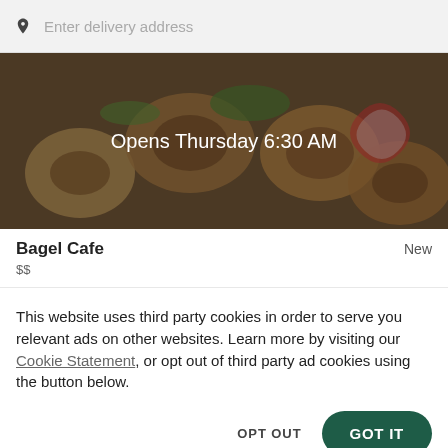Enter delivery address
[Figure (photo): Food photo banner showing bagels and sandwiches with dark overlay, text 'Opens Thursday 6:30 AM']
Bagel Cafe
New
$$
This website uses third party cookies in order to serve you relevant ads on other websites. Learn more by visiting our Cookie Statement, or opt out of third party ad cookies using the button below.
OPT OUT
GOT IT